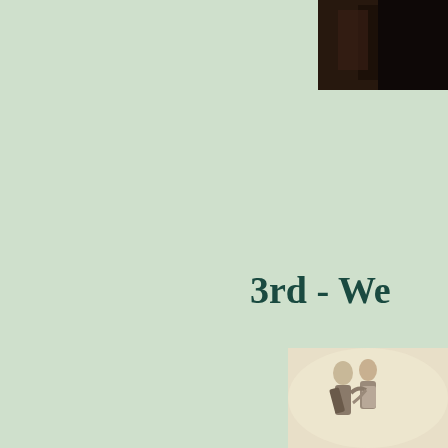[Figure (photo): Dark photograph of a person, partially visible, cropped at top-right corner of the page]
3rd - We
20
Fin
[Figure (illustration): Illustrated drawing of two people dancing or embracing, visible at bottom-right corner of the page]